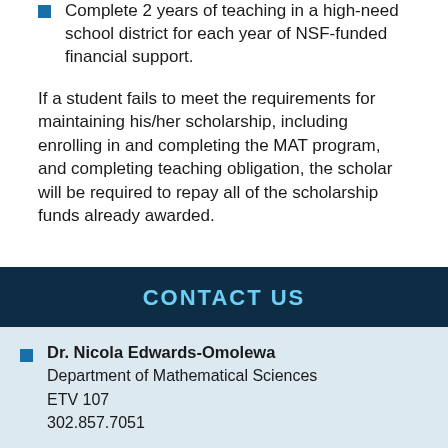Complete 2 years of teaching in a high-need school district for each year of NSF-funded financial support.
If a student fails to meet the requirements for maintaining his/her scholarship, including enrolling in and completing the MAT program, and completing teaching obligation, the scholar will be required to repay all of the scholarship funds already awarded.
CONTACT US
Dr. Nicola Edwards-Omolewa
Department of Mathematical Sciences
ETV 107
302.857.7051